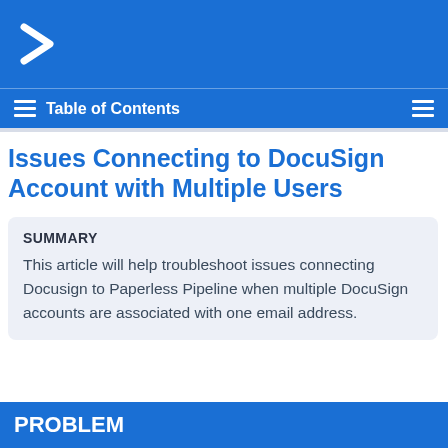[Figure (logo): Paperless Pipeline logo - white arrow/chevron icon on blue background]
Table of Contents
Issues Connecting to DocuSign Account with Multiple Users
SUMMARY
This article will help troubleshoot issues connecting Docusign to Paperless Pipeline when multiple DocuSign accounts are associated with one email address.
PROBLEM